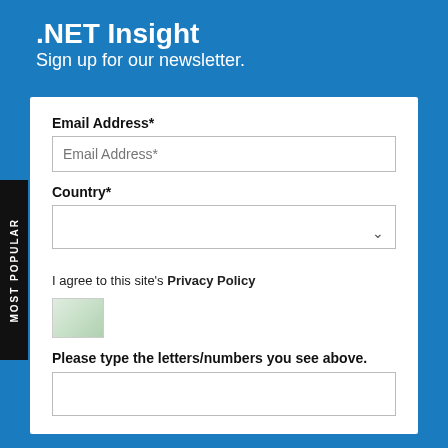.NET Insight
Sign up for our newsletter.
[Figure (screenshot): Newsletter signup form with fields for Email Address, Country dropdown, privacy policy checkbox text, captcha image, captcha input field]
SUBMIT